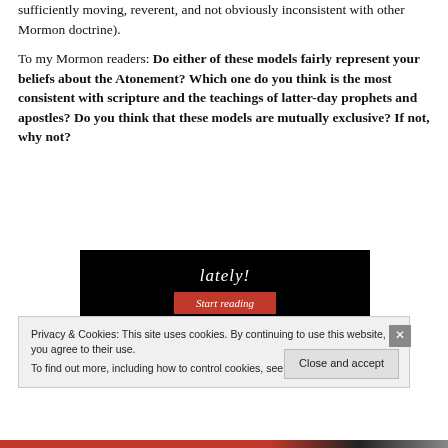sufficiently moving, reverent, and not obviously inconsistent with other Mormon doctrine).
To my Mormon readers: Do either of these models fairly represent your beliefs about the Atonement? Which one do you think is the most consistent with scripture and the teachings of latter-day prophets and apostles? Do you think that these models are mutually exclusive? If not, why not?
[Figure (screenshot): Dark banner with italic text 'lately!' and a red 'Start reading' button]
Privacy & Cookies: This site uses cookies. By continuing to use this website, you agree to their use.
To find out more, including how to control cookies, see here: Cookie Policy
Close and accept